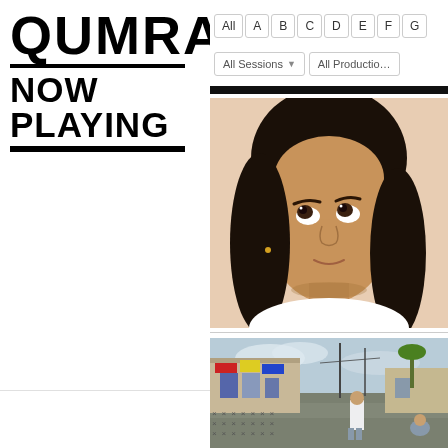QUMRA NOW PLAYING
All Sessions | All Productions
[Figure (screenshot): Alphabetical navigation bar with buttons: All, A, B, C, D, E, F, G]
[Figure (photo): Close-up portrait of a young girl with dark hair, looking upward, warm beige background]
[Figure (photo): Street scene with colorful flags and banners on buildings, wet street, person walking away]